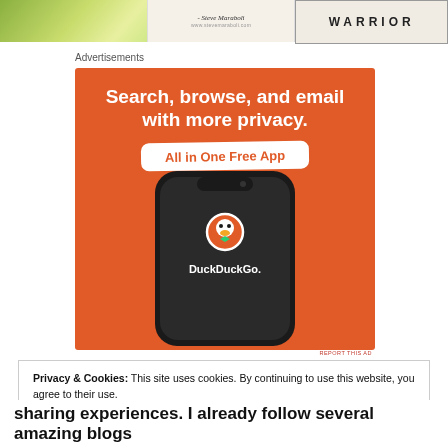[Figure (photo): Three horizontal banner images at the top: a nature/landscape photo, a cursive signature with website URL (stevemaraboli.com), and a 'WARRIOR' text logo]
Advertisements
[Figure (photo): DuckDuckGo advertisement with orange background. Text: 'Search, browse, and email with more privacy. All in One Free App'. Shows a smartphone with DuckDuckGo logo (duck mascot) on screen.]
REPORT THIS AD
Privacy & Cookies: This site uses cookies. By continuing to use this website, you agree to their use.
To find out more, including how to control cookies, see here: Cookie Policy
Close and accept
sharing experiences. I already follow several amazing blogs